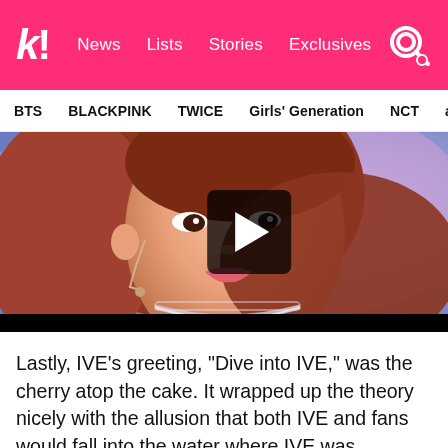k! News  Lists  Stories  Exclusives
BTS  BLACKPINK  TWICE  Girls' Generation  NCT  aespa
[Figure (photo): K-pop female artist performing on stage with a headset microphone and diamond choker necklace, with a video play button overlay in the center]
Lastly, IVE's greeting, “Dive into IVE,” was the cherry atop the cake. It wrapped up the theory nicely with the allusion that both IVE and fans would fall into the water where IVE was reflected. IVE is also based on the English